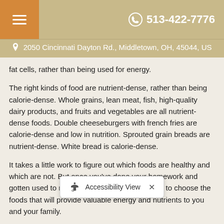☰  513-422-7776
📍 2050 Cincinnati Dayton Rd., Middletown, OH, 45044, US
fat cells, rather than being used for energy.
The right kinds of food are nutrient-dense, rather than being calorie-dense. Whole grains, lean meat, fish, high-quality dairy products, and fruits and vegetables are all nutrient-dense foods. Double cheeseburgers with french fries are calorie-dense and low in nutrition. Sprouted grain breads are nutrient-dense. White bread is calorie-dense.
It takes a little work to figure out which foods are healthy and which are not. But once you've done your homework and gotten used to reading labels, it becomes easy to choose the foods that will provide valuable energy and nutrients to you and your family.
Exercising regularly provid a person with lots of energy.² People who exercise regu... need less